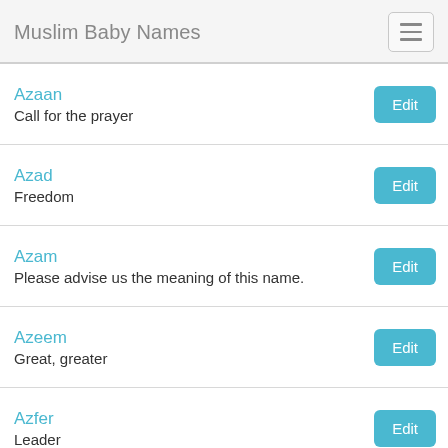Muslim Baby Names
Azaan
Call for the prayer
Azad
Freedom
Azam
Please advise us the meaning of this name.
Azeem
Great, greater
Azfer
Leader
Azhar
Famous
Azim
Greatest